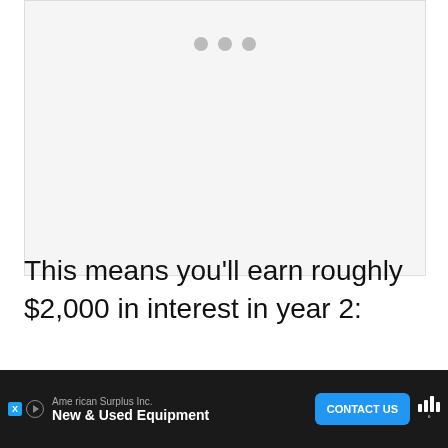[Figure (other): Gray placeholder image area with three gray dots indicating loading content]
This means you’ll earn roughly $2,000 in interest in year 2:
[Figure (infographic): Diagram showing annotations: '$15,000 in savings' with arrow pointing left, '$2,000 in interest' with arrow pointing right, above a colored bar strip showing proportions]
[Figure (other): Advertisement bar: American Surplus Inc. New & Used Equipment with CONTACT US button and Wyze logo]